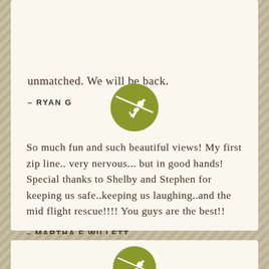unmatched. We will be back.
– RYAN G
[Figure (illustration): Olive green circle with white silhouette of a person zip-lining]
So much fun and such beautiful views! My first zip line.. very nervous... but in good hands! Special thanks to Shelby and Stephen for keeping us safe..keeping us laughing..and the mid flight rescue!!!! You guys are the best!!
– MARTHA E WILLETT
[Figure (illustration): Yellow circle with upward-pointing chevron (back-to-top button)]
[Figure (illustration): Olive green circle with white silhouette of a person zip-lining (partially visible at bottom)]